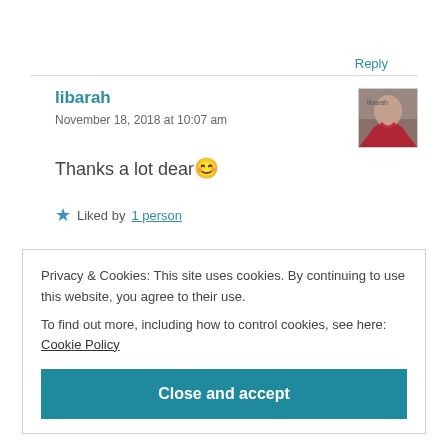Reply
libarah
November 18, 2018 at 10:07 am
Thanks a lot dear 😊
★ Liked by 1 person
Privacy & Cookies: This site uses cookies. By continuing to use this website, you agree to their use.
To find out more, including how to control cookies, see here: Cookie Policy
Close and accept